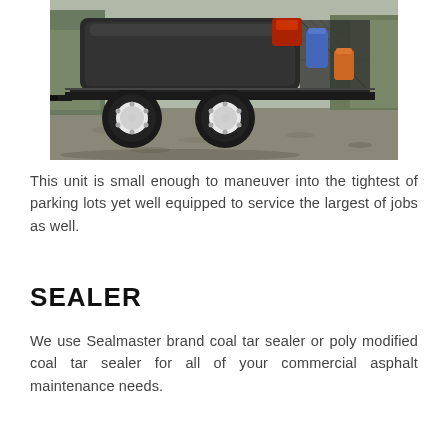[Figure (photo): A dual-axle trailer with a large black cylindrical tank for sealer/asphalt maintenance. White rims and large black tires visible. A cage/rack area on the right side of the trailer holds blue and orange containers. The trailer is parked on a gravel surface with trees in the background.]
This unit is small enough to maneuver into the tightest of parking lots yet well equipped to service the largest of jobs as well.
SEALER
We use Sealmaster brand coal tar sealer or poly modified coal tar sealer for all of your commercial asphalt maintenance needs.